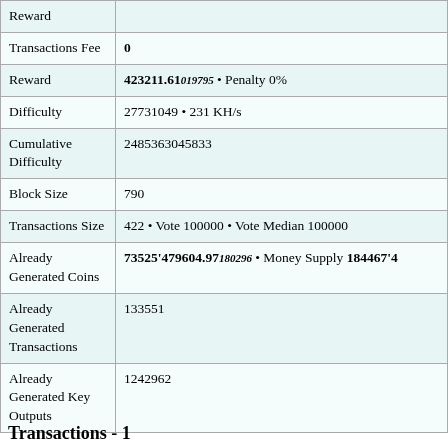| Field | Value |
| --- | --- |
| Reward |  |
| Transactions Fee | 0 |
| Reward | 423211.61019795 • Penalty 0% |
| Difficulty | 27731049 • 231 KH/s |
| Cumulative Difficulty | 2485363045833 |
| Block Size | 790 |
| Transactions Size | 422 • Vote 100000 • Vote Median 100000 |
| Already Generated Coins | 73525'479604.97180296 • Money Supply 184467'4... |
| Already Generated Transactions | 133551 |
| Already Generated Key Outputs | 1242962 |
Transactions - 1